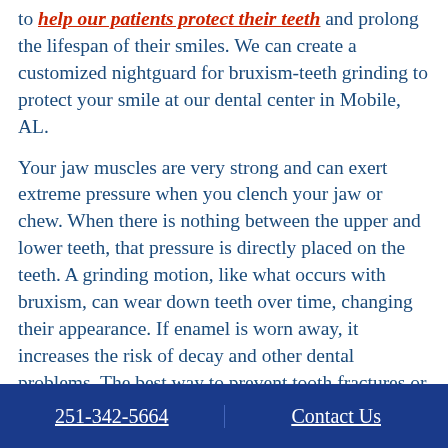to help our patients protect their teeth and prolong the lifespan of their smiles. We can create a customized nightguard for bruxism-teeth grinding to protect your smile at our dental center in Mobile, AL.
Your jaw muscles are very strong and can exert extreme pressure when you clench your jaw or chew. When there is nothing between the upper and lower teeth, that pressure is directly placed on the teeth. A grinding motion, like what occurs with bruxism, can wear down teeth over time, changing their appearance. If enamel is worn away, it increases the risk of decay and other dental problems. The best way to prevent tooth fractures or damage from jaw clenching or bruxism is to wear a nightguard that
251-342-5664    Contact Us